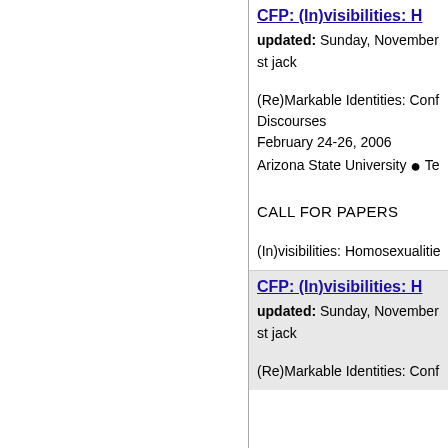CFP: (In)visibilities: H...
updated: Sunday, November...
st jack
(Re)Markable Identities: Conf... Discourses
February 24-26, 2006
Arizona State University ● Te...
CALL FOR PAPERS
(In)visibilities: Homosexualitie...
CFP: (In)visibilities: H...
updated: Sunday, November...
st jack
(Re)Markable Identities: Conf...